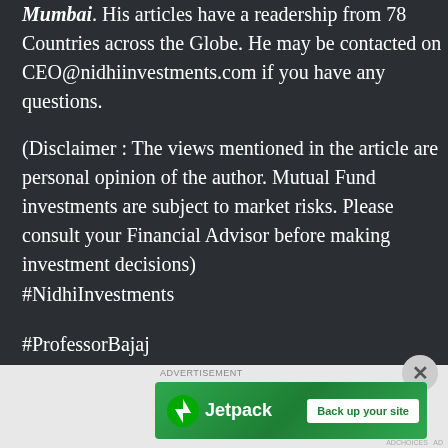Mumbai. His articles have a readership from 78 Countries across the Globe. He may be contacted on CEO@nidhiinvestments.com if you have any questions.

(Disclaimer : The views mentioned in the article are personal opinion of the author. Mutual Fund investments are subject to market risks. Please consult your Financial Advisor before making investment decisions)
#NidhiInvestments
#ProfessorBajaj
[Figure (screenshot): Advertisement banner for Jetpack with green background, Jetpack logo on the left, and 'Back up your site' button on the right. A close (X) button is shown in the top right of the ad area.]